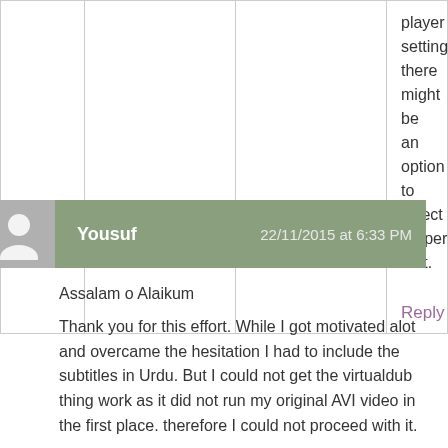|  |  |  | player settings there might be an option to select proper font.

Reply |
Yousuf   22/11/2015 at 6:33 PM
Assalam o Alaikum
Thank you for this effort. While I got motivated alot and overcame the hesitation I had to include the subtitles in Urdu. But I could not get the virtualdub thing work as it did not run my original AVI video in the first place. therefore I could not proceed with it.